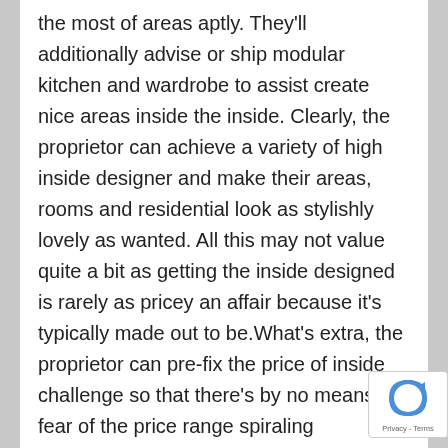the most of areas aptly. They'll additionally advise or ship modular kitchen and wardrobe to assist create nice areas inside the inside. Clearly, the proprietor can achieve a variety of high inside designer and make their areas, rooms and residential look as stylishly lovely as wanted. All this may not value quite a bit as getting the inside designed is rarely as pricey an affair because it's typically made out to be.What's extra, the proprietor can pre-fix the price of inside challenge so that there's by no means a fear of the price range spiraling uncontrolled. Plus, such designers may leverage their area expertise and relationships with distributors and contractors to get work accomplished on time and freed from errors. So, owners will at all times be able to save